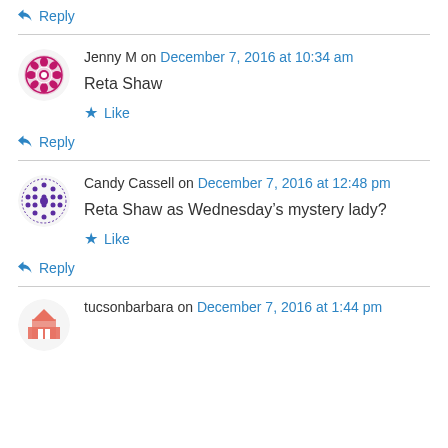↳ Reply
Jenny M on December 7, 2016 at 10:34 am
Reta Shaw
★ Like
↳ Reply
Candy Cassell on December 7, 2016 at 12:48 pm
Reta Shaw as Wednesday's mystery lady?
★ Like
↳ Reply
tucsonbarbara on December 7, 2016 at 1:44 pm